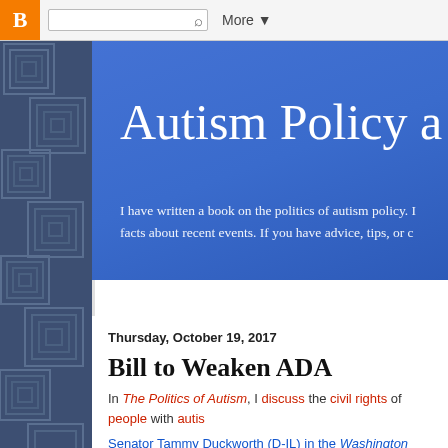B [Blogger logo] [search box] Q More ▼
[Figure (illustration): Left decorative sidebar with nested rectangle pattern in dark blue/grey tones]
Autism Policy a
I have written a book on the politics of autism policy. I facts about recent events. If you have advice, tips, or c
Thursday, October 19, 2017
Bill to Weaken ADA
In The Politics of Autism, I discuss the civil rights of people with autis
Senator Tammy Duckworth (D-IL) in the Washington Post writes that
Decades later, the forces of discrimination are working hard